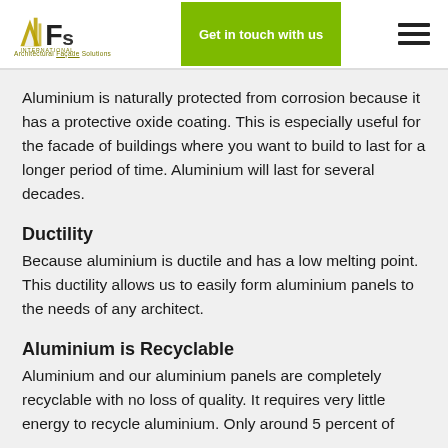[Figure (logo): AFS International - Architectural Façade Solutions logo with green contact button and hamburger menu]
Aluminium is naturally protected from corrosion because it has a protective oxide coating. This is especially useful for the facade of buildings where you want to build to last for a longer period of time. Aluminium will last for several decades.
Ductility
Because aluminium is ductile and has a low melting point. This ductility allows us to easily form aluminium panels to the needs of any architect.
Aluminium is Recyclable
Aluminium and our aluminium panels are completely recyclable with no loss of quality. It requires very little energy to recycle aluminium. Only around 5 percent of